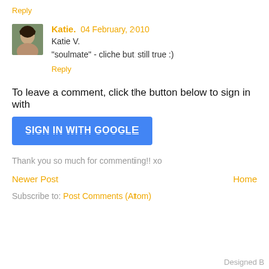Reply
Katie.  04 February, 2010
Katie V.
"soulmate" - cliche but still true :)
Reply
To leave a comment, click the button below to sign in with
SIGN IN WITH GOOGLE
Thank you so much for commenting!! xo
Newer Post
Home
Subscribe to: Post Comments (Atom)
Designed B